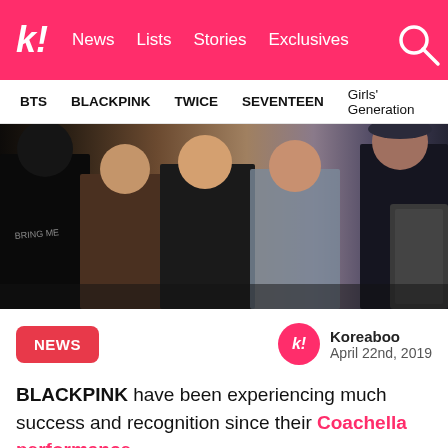k! News Lists Stories Exclusives
BTS BLACKPINK TWICE SEVENTEEN Girls' Generation
[Figure (photo): Group photo of BLACKPINK members posing together backstage at Coachella, three women in festival outfits, one person in black on left, another person on right in baseball cap]
NEWS
Koreaboo
April 22nd, 2019
BLACKPINK have been experiencing much success and recognition since their Coachella performance.
However they also been hanging out with some